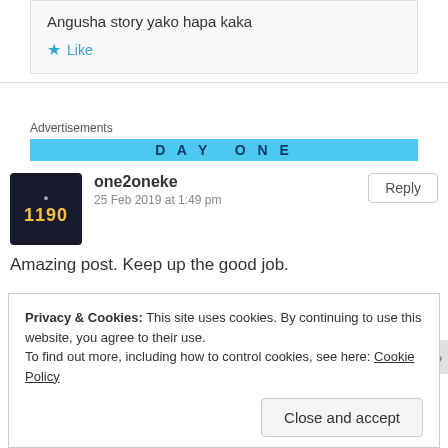Angusha story yako hapa kaka
★ Like
Advertisements
[Figure (screenshot): Blue advertisement banner with text DAY ONE]
one2oneke
25 Feb 2019 at 1:49 pm
Reply
Amazing post. Keep up the good job.
Privacy & Cookies: This site uses cookies. By continuing to use this website, you agree to their use. To find out more, including how to control cookies, see here: Cookie Policy
Close and accept